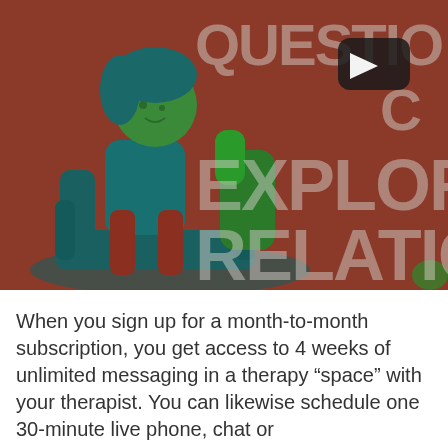[Figure (screenshot): Video thumbnail with brown/rust background showing a therapy-related illustration. On the left side is an animated figure (green-haired person, teal clothing, dark teal couch/chair). On the right are large light-gray partially visible words: QUESTIO, C, EXPLORI, RELATIO. A YouTube play button appears near the top center.]
When you sign up for a month-to-month subscription, you get access to 4 weeks of unlimited messaging in a therapy “space” with your therapist. You can likewise schedule one 30-minute live phone, chat or